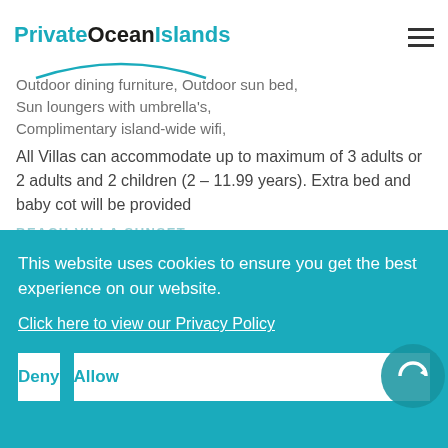PrivateOceanIslands
Outdoor dining furniture, Outdoor sun bed, Sun loungers with umbrella's, Complimentary island-wide wifi,
All Villas can accommodate up to maximum of 3 adults or 2 adults and 2 children (2 – 11.99 years). Extra bed and baby cot will be provided
This website uses cookies to ensure you get the best experience on our website.
Click here to view our Privacy Policy
Deny
Allow
BEACH VILLA SUNSET
POOL BEACH VILLA SUNSET
WATER VILLA